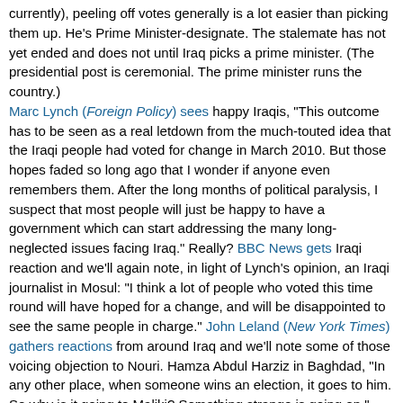currently), peeling off votes generally is a lot easier than picking them up. He's Prime Minister-designate. The stalemate has not yet ended and does not until Iraq picks a prime minister. (The presidential post is ceremonial. The prime minister runs the country.) Marc Lynch (Foreign Policy) sees happy Iraqis, "This outcome has to be seen as a real letdown from the much-touted idea that the Iraqi people had voted for change in March 2010. But those hopes faded so long ago that I wonder if anyone even remembers them. After the long months of political paralysis, I suspect that most people will just be happy to have a government which can start addressing the many long-neglected issues facing Iraq." Really? BBC News gets Iraqi reaction and we'll again note, in light of Lynch's opinion, an Iraqi journalist in Mosul: "I think a lot of people who voted this time round will have hoped for a change, and will be disappointed to see the same people in charge." John Leland (New York Times) gathers reactions from around Iraq and we'll note some of those voicing objection to Nouri. Hamza Abdul Harziz in Baghdad, "In any other place, when someone wins an election, it goes to him. So why is it going to Maliki? Something strange is going on." Alos in Baghdad, Majida Sameer: "Why does Al-Maliki remain while Allawi has the legal rights to the Prime Minister position." University of Mosul professor Amjad Abdul Karim Abdullah, "America sold Iraq to Iran." History teacher Jasim Mahmood, "Today we are witnessing the birth of a dictatr in control of Iraq's government for the next 20 years." Abu al-Hasanen Ala in Basra, "I feel upset because we will face the same thing as the last four years." While Mohammed Azai of Kirkuk states, "The Americans brought these politicians. They are not representing Iraqis. If we asked